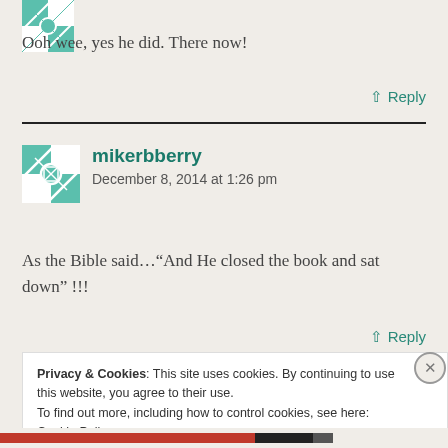[Figure (illustration): Teal geometric quilt-pattern avatar icon, partially visible at top left]
Ooh wee, yes he did. There now!
↑ Reply
mikerbberry
December 8, 2014 at 1:26 pm
As the Bible said…“And He closed the book and sat down” !!!
↑ Reply
Privacy & Cookies: This site uses cookies. By continuing to use this website, you agree to their use.
To find out more, including how to control cookies, see here: Cookie Policy
Close and accept